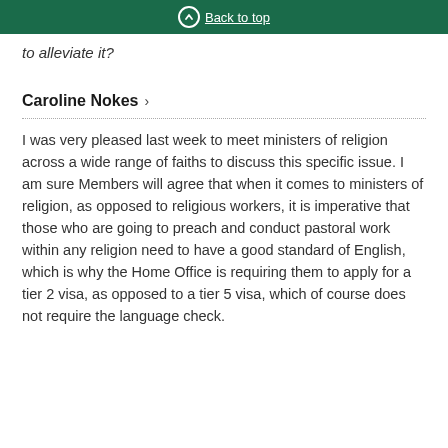↑ Back to top
to alleviate it?
Caroline Nokes >
I was very pleased last week to meet ministers of religion across a wide range of faiths to discuss this specific issue. I am sure Members will agree that when it comes to ministers of religion, as opposed to religious workers, it is imperative that those who are going to preach and conduct pastoral work within any religion need to have a good standard of English, which is why the Home Office is requiring them to apply for a tier 2 visa, as opposed to a tier 5 visa, which of course does not require the language check.